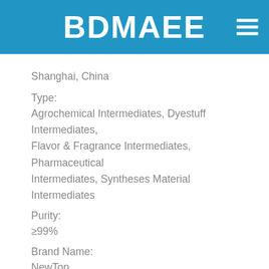BDMAEE
Shanghai, China
Type:
Agrochemical Intermediates, Dyestuff Intermediates, Flavor & Fragrance Intermediates, Pharmaceutical Intermediates, Syntheses Material Intermediates
Purity:
≥99%
Brand Name:
NewTop
Model Number:
NewTop
Application:
Tertiary Amine Catalyst